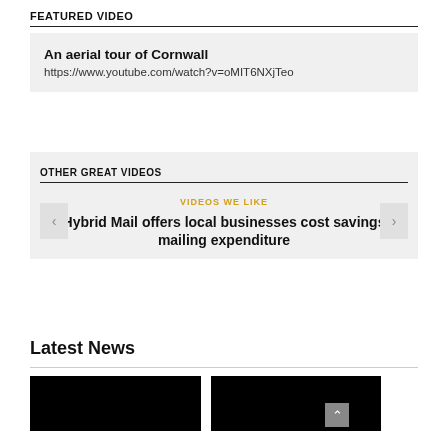FEATURED VIDEO
An aerial tour of Cornwall
https://www.youtube.com/watch?v=oMIT6NXjTeo
OTHER GREAT VIDEOS
VIDEOS WE LIKE
Hybrid Mail offers local businesses cost savings mailing expenditure
Latest News
[Figure (photo): Black image placeholder for news thumbnail left]
[Figure (photo): Black image placeholder for news thumbnail right]